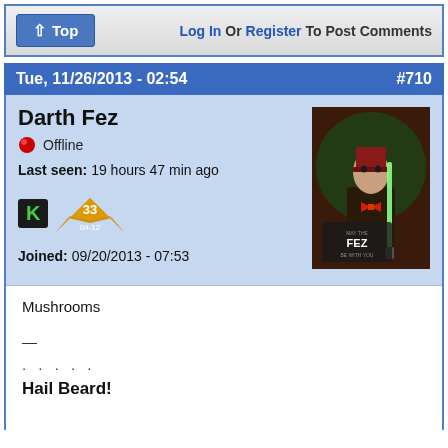Top | Log In Or Register To Post Comments
Tue, 11/26/2013 - 02:54  #710
Darth Fez
Offline
Last seen: 19 hours 47 min ago
Joined: 09/20/2013 - 07:53
[Figure (illustration): Avatar image showing a figure in a suit and fez hat holding a lightsaber, with text 'MAY THE FEZ BE WITH YOU']
Mushrooms
—
. . . . .
Hail Beard!